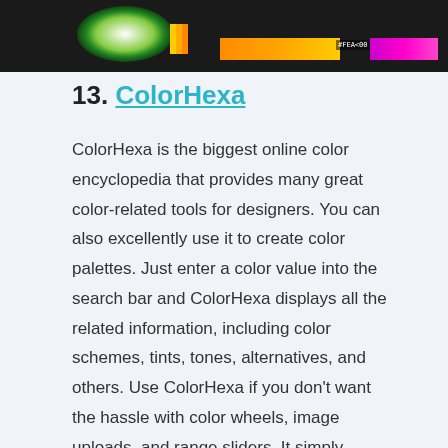[Figure (screenshot): Top portion of a color tool screenshot showing a dark background with a color wheel, orange gradient bar with hex label #FEA800, and a magenta gradient bar.]
13. ColorHexa
ColorHexa is the biggest online color encyclopedia that provides many great color-related tools for designers. You can also excellently use it to create color palettes. Just enter a color value into the search bar and ColorHexa displays all the related information, including color schemes, tints, tones, alternatives, and others. Use ColorHexa if you don't want the hassle with color wheels, image uploads, and range sliders. It simply returns all the matching colors for any color you run a query for.